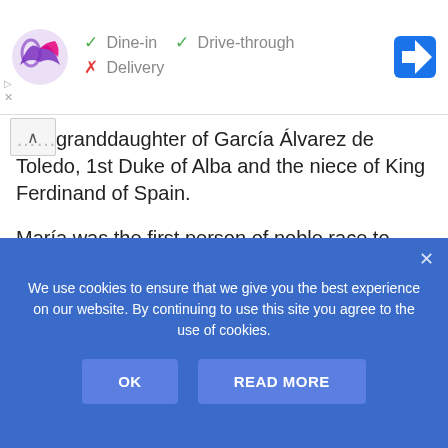[Figure (screenshot): Taco Bell ad banner showing logo with checkmarks for Dine-in and Drive-through, X for Delivery, and a navigation arrow icon]
...granddaughter of García Álvarez de Toledo, 1st Duke of Alba and the niece of King Ferdinand of Spain.
María was the first person of noble race to arrive on the Spanish island in 1509. She brought class to the colony. Clothes and other fancy items were forbidden in the colony until she arrived. She got special permission from the crown for herself and others to use and wear these items, becoming the...
We use cookies to ensure that we give you the best experience on our website. By continuing to use this site you agree to the use of cookies.